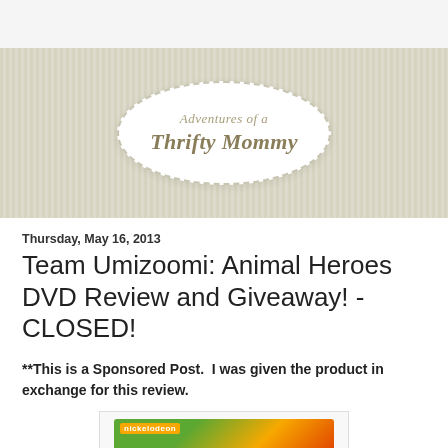[Figure (logo): Adventures of a Thrifty Mommy blog logo — white oval with dashed border on tan/olive striped banner background]
Thursday, May 16, 2013
Team Umizoomi: Animal Heroes DVD Review and Giveaway! - CLOSED!
**This is a Sponsored Post.  I was given the product in exchange for this review.
[Figure (photo): Nickelodeon Team Umizoomi Animal Heroes DVD case partially visible at bottom of page]